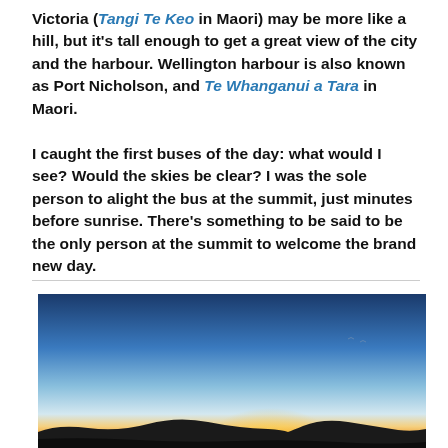Victoria (Tangi Te Keo in Maori) may be more like a hill, but it's tall enough to get a great view of the city and the harbour. Wellington harbour is also known as Port Nicholson, and Te Whanganui a Tara in Maori.

I caught the first buses of the day: what would I see? Would the skies be clear? I was the sole person to alight the bus at the summit, just minutes before sunrise. There's something to be said to be the only person at the summit to welcome the brand new day.
[Figure (photo): Sunrise photo showing a glowing sun just above the horizon, dark silhouetted hills in the foreground, and a sky gradient from deep blue at the top through light blue to warm orange and yellow near the horizon.]